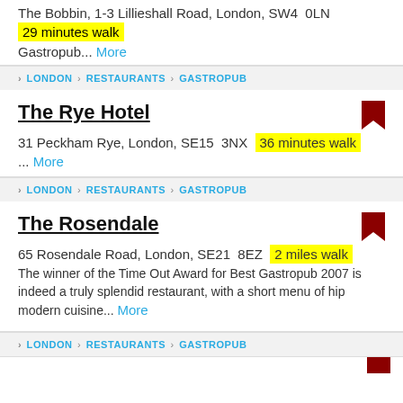The Bobbin, 1-3 Lillieshall Road, London, SW4 0LN
29 minutes walk
Gastropub... More
LONDON > RESTAURANTS > GASTROPUB
The Rye Hotel
31 Peckham Rye, London, SE15 3NX  36 minutes walk
... More
LONDON > RESTAURANTS > GASTROPUB
The Rosendale
65 Rosendale Road, London, SE21 8EZ  2 miles walk
The winner of the Time Out Award for Best Gastropub 2007 is indeed a truly splendid restaurant, with a short menu of hip modern cuisine... More
LONDON > RESTAURANTS > GASTROPUB